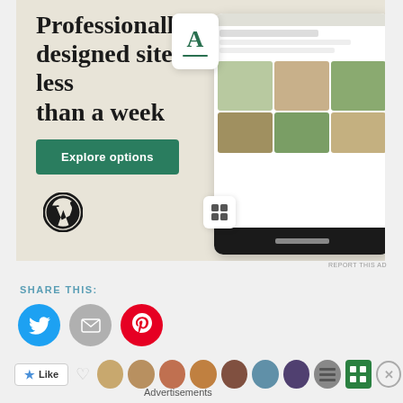[Figure (screenshot): WordPress.com advertisement banner with text 'Professionally designed sites in less than a week', green 'Explore options' button, WordPress logo, and mock website screenshots showing food/restaurant site on mobile devices]
REPORT THIS AD
SHARE THIS:
[Figure (infographic): Social share buttons: Twitter (blue bird), Email (grey envelope), Pinterest (red P)]
[Figure (infographic): Like button with star, heart/like icon, row of user avatars, green grid icon, and X close button]
Advertisements
[Figure (screenshot): DuckDuckGo advertisement: 'Search, browse, and email with more privacy. All in One Free App' with DuckDuckGo duck logo on dark right panel]